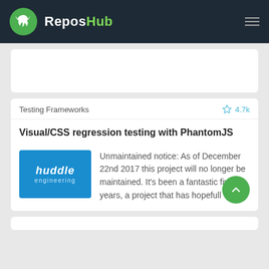ReposHub
Testing Frameworks  ☆ 4.7k
Visual/CSS regression testing with PhantomJS
Unmaintained notice: As of December 22nd 2017 this project will no longer be maintained. It's been a fantastic five years, a project that has hopefull
[Figure (logo): Huddle Engineering logo: blue rectangle with 'huddle' in white italic text and 'engineering' below in smaller white text]